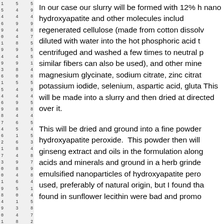In our case our slurry will be formed with 12% h nano hydroxyapatite and other molecules includ regenerated cellulose (made from cotton dissol diluted with water into the hot phosphoric acid t centrifuged and washed a few times to neutral p similar fibers can also be used), and other mine magnesium glycinate, sodium citrate, zinc citrat potassium iodide, selenium, aspartic acid, gluta This will be made into a slurry and then dried at directed over it.
This will be dried and ground into a fine powder hydroxyapatite peroxide. This powder then will ginseng extract and oils in the formulation along acids and minerals and ground in a herb grinde emulsified nanoparticles of hydroxyapatite pero used, preferably of natural origin, but I found tha found in sunflower lecithin were bad and promo